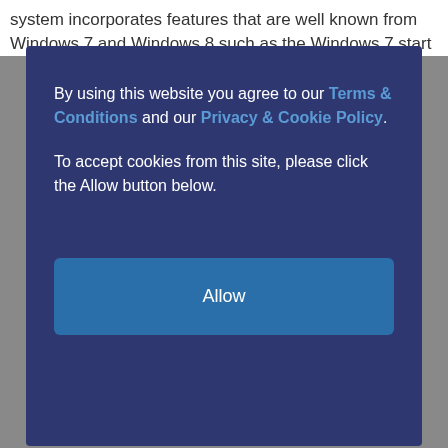system incorporates features that are well known from Windows 7 and Windows 8 such as the Windows 7 start
By using this website you agree to our Terms & Conditions and our Privacy & Cookie Policy. To accept cookies from this site, please click the Allow button below.
[Figure (other): Allow button - a wide rectangular blue button with white text reading 'Allow']